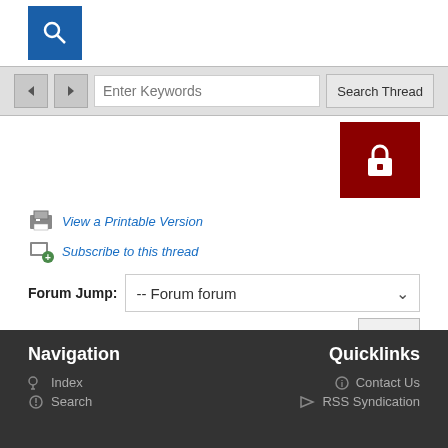[Figure (screenshot): Blue search button icon at top left]
[Figure (screenshot): Toolbar with back/forward navigation buttons, keyword input field, and Search Thread button]
[Figure (screenshot): Dark red lock button at top right]
View a Printable Version
Subscribe to this thread
Forum Jump: -- Forum forum
1 Guest(s)
Navigation | Quicklinks | Index | Contact Us